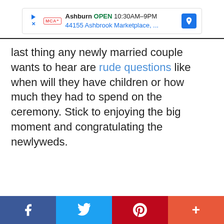[Figure (other): Advertisement banner for McAlister's Deli in Ashburn showing OPEN 10:30AM-9PM and address 44155 Ashbrook Marketplace with navigation arrow icon]
last thing any newly married couple wants to hear are rude questions like when will they have children or how much they had to spend on the ceremony. Stick to enjoying the big moment and congratulating the newlyweds.
Facebook, Twitter, Pinterest, More share buttons